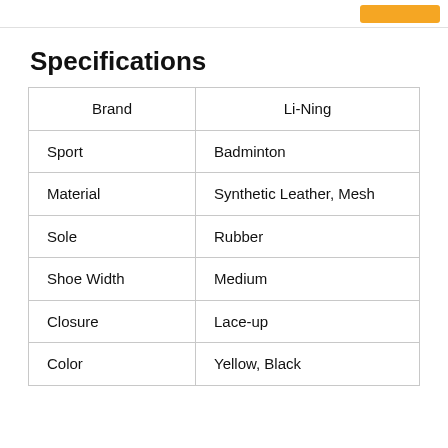Specifications
|  |  |
| --- | --- |
| Brand | Li-Ning |
| Sport | Badminton |
| Material | Synthetic Leather, Mesh |
| Sole | Rubber |
| Shoe Width | Medium |
| Closure | Lace-up |
| Color | Yellow, Black |